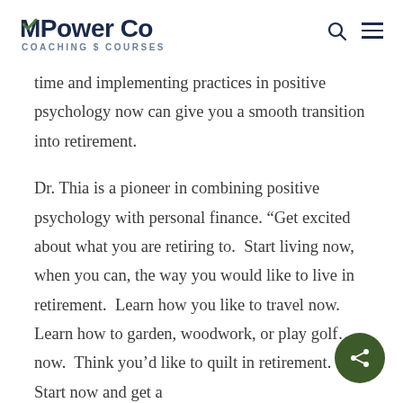MPower Co COACHING $ COURSES
time and implementing practices in positive psychology now can give you a smooth transition into retirement.
Dr. Thia is a pioneer in combining positive psychology with personal finance. “Get excited about what you are retiring to.  Start living now, when you can, the way you would like to live in retirement.  Learn how you like to travel now.  Learn how to garden, woodwork, or play golf… now.  Think you’d like to quilt in retirement.  Start now and get a